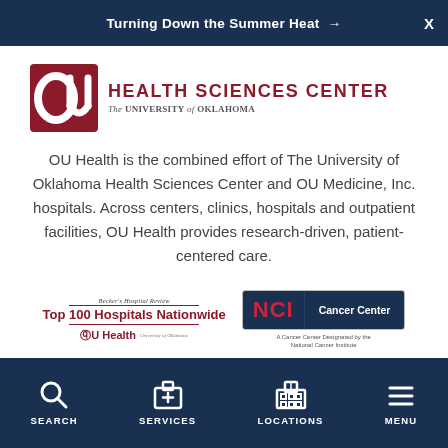Turning Down the Summer Heat →
[Figure (logo): OU Health Sciences Center – The University of Oklahoma logo with red OU symbol]
OU Health is the combined effort of The University of Oklahoma Health Sciences Center and OU Medicine, Inc. hospitals. Across centers, clinics, hospitals and outpatient facilities, OU Health provides research-driven, patient-centered care.
[Figure (logo): Becker's Hospital Review Top 100 Hospitals Nationwide – OU Health, University of Oklahoma badge]
[Figure (logo): NCI Cancer Center – A Cancer Center Designated by the National Cancer Institute badge]
SEARCH   SERVICES   LOCATIONS   MENU